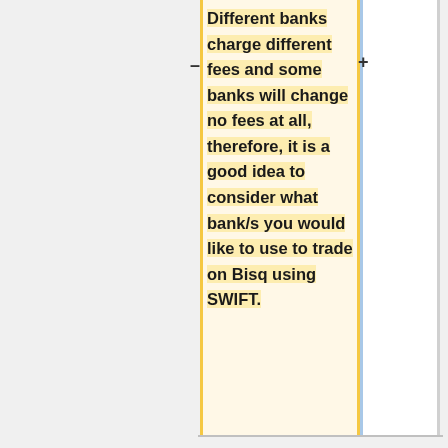Different banks charge different fees and some banks will change no fees at all, therefore, it is a good idea to consider what bank/s you would like to use to trade on Bisq using SWIFT.